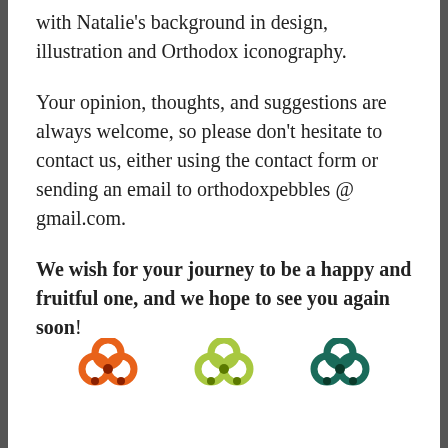with Natalie's background in design, illustration and Orthodox iconography.
Your opinion, thoughts, and suggestions are always welcome, so please don't hesitate to contact us, either using the contact form or sending an email to orthodoxpebbles @ gmail.com.
We wish for your journey to be a happy and fruitful one, and we hope to see you again soon!
[Figure (illustration): Three decorative icons or figures with circular designs in orange, light green, and dark teal/green colors arranged in a row at the bottom of the page.]